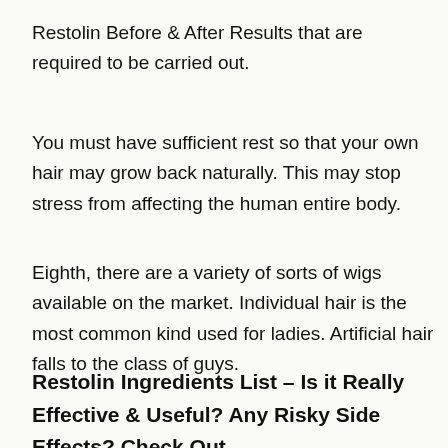Restolin Before & After Results that are required to be carried out.
You must have sufficient rest so that your own hair may grow back naturally. This may stop stress from affecting the human entire body.
Eighth, there are a variety of sorts of wigs available on the market. Individual hair is the most common kind used for ladies. Artificial hair falls to the class of guys.
Restolin Ingredients List – Is it Really Effective & Useful? Any Risky Side Effects? Check Out